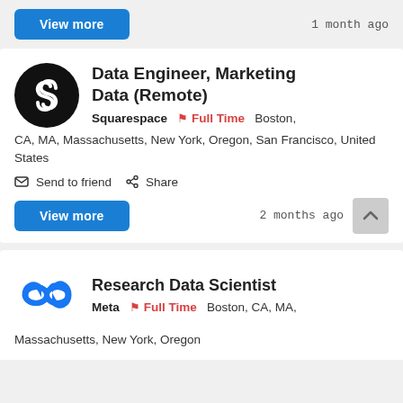View more
1 month ago
Data Engineer, Marketing Data (Remote)
Squarespace  Full Time  Boston, CA, MA, Massachusetts, New York, Oregon, San Francisco, United States
Send to friend  Share
View more
2 months ago
Research Data Scientist
Meta  Full Time  Boston, CA, MA, Massachusetts, New York, Oregon